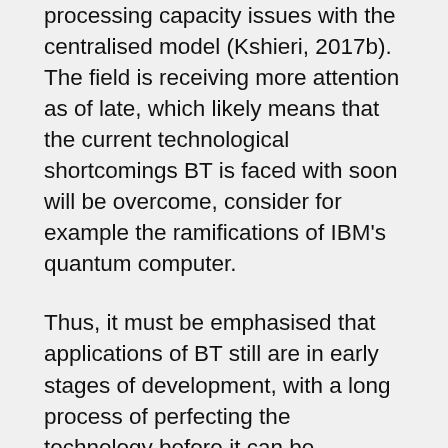processing capacity issues with the centralised model (Kshieri, 2017b). The field is receiving more attention as of late, which likely means that the current technological shortcomings BT is faced with soon will be overcome, consider for example the ramifications of IBM's quantum computer.
Thus, it must be emphasised that applications of BT still are in early stages of development, with a long process of perfecting the technology before it can be introduces on a systemic scale (Dai, et al., 2017; Kshieri, 2017b). Thus, it is still too early to conclude that BT will, or will not be the answer to the security challenges of the fast evolving IoT industry.
What can be established is that there are some promising opportunities present for the IoT where autonomous decentralised networks will